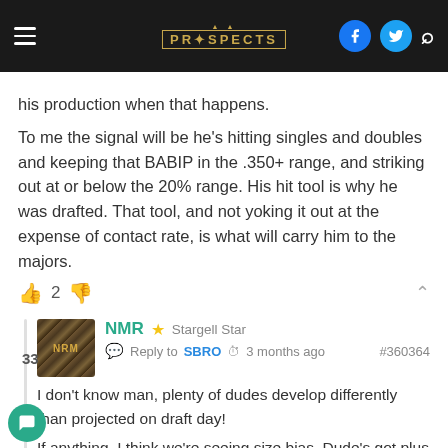PROSPECTS (logo)
his production when that happens.
To me the signal will be he's hitting singles and doubles and keeping that BABIP in the .350+ range, and striking out at or below the 20% range. His hit tool is why he was drafted. That tool, and not yoking it out at the expense of contact rate, is what will carry him to the majors.
NMR ★ Stargell Star
Reply to SBRO  3 months ago  #360364
I don't know man, plenty of dudes develop differently than projected on draft day!
If anything, I think we're seeing size bias. Dude's got plus bat speed and a fly ball swing. If he were 6' tall, I don't think there's any doubt we'd buy into his power.